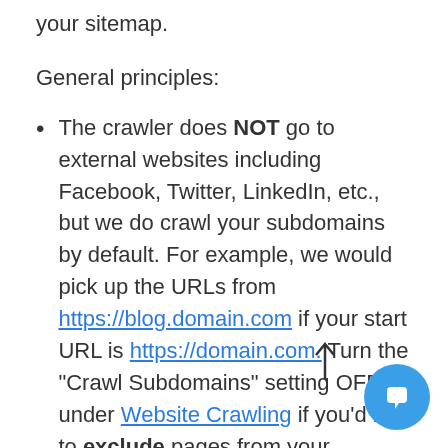make sure the missing URL is included in your sitemap.
General principles:
The crawler does NOT go to external websites including Facebook, Twitter, LinkedIn, etc., but we do crawl your subdomains by default. For example, we would pick up the URLs from https://blog.domain.com if your start URL is https://domain.com. Turn the "Crawl Subdomains" setting OFF under Website Crawling if you'd like to exclude pages from your subdomain. You can also blacklist unwanted URL patterns.